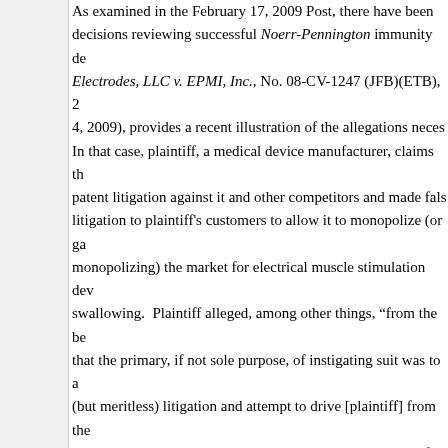As examined in the February 17, 2009 Post, there have been decisions reviewing successful Noerr-Pennington immunity de... Electrodes, LLC v. EPMI, Inc., No. 08-CV-1247 (JFB)(ETB), 2... 4, 2009), provides a recent illustration of the allegations neces... In that case, plaintiff, a medical device manufacturer, claims th... patent litigation against it and other competitors and made fals... litigation to plaintiff's customers to allow it to monopolize (or g... monopolizing) the market for electrical muscle stimulation dev... swallowing.  Plaintiff alleged, among other things, "from the be... that the primary, if not sole purpose, of instigating suit was to a... (but meritless) litigation and attempt to drive [plaintiff] from the... objectively unreasonable and was initiated in order to interfere... relationships and activities. …  The sham patent suit strategy... of the claim in light of prior art, these Defendants completely d... any penalty or payment of any kind."  Id. at *7.  The Court hel... sufficient to withstand a motion to dismiss" based on the Noer... because "Plaintiff alleges that the litigation was both subjectiv... plausibly supports this claim with the assertion that there coul... the existence of 'prior art.'"  Id.